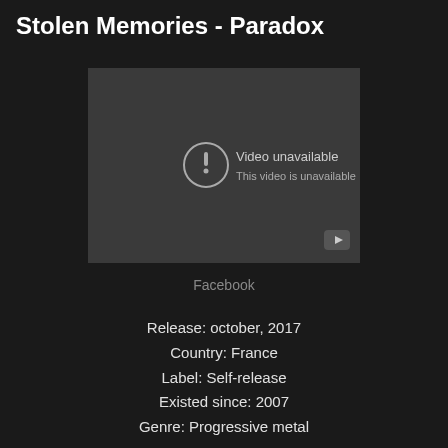Stolen Memories - Paradox
[Figure (screenshot): Embedded YouTube video player showing 'Video unavailable' error message with exclamation mark icon and YouTube logo button in bottom right corner]
Facebook
Release: october, 2017
Country: France
Label: Self-release
Existed since: 2007
Genre: Progressive metal